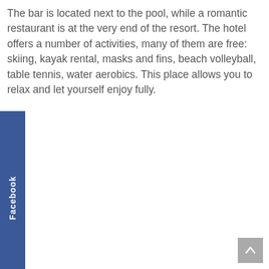The bar is located next to the pool, while a romantic restaurant is at the very end of the resort. The hotel offers a number of activities, many of them are free: skiing, kayak rental, masks and fins, beach volleyball, table tennis, water aerobics. This place allows you to relax and let yourself enjoy fully.
[Figure (other): Facebook social media tab button on the left side of the page, vertical blue rectangle with white bold text 'Facebook' written vertically]
[Figure (other): Scroll-to-top button in the bottom right corner, grey square with a white upward arrow icon]